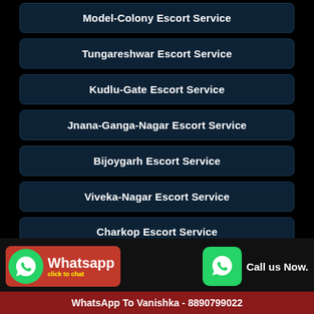Model-Colony Escort Service
Tungareshwar Escort Service
Kudlu-Gate Escort Service
Jnana-Ganga-Nagar Escort Service
Bijoygarh Escort Service
Viveka-Nagar Escort Service
Charkop Escort Service
Call Vanishka Now - 8890799022
WhatsApp To Vanishka - 8890799022